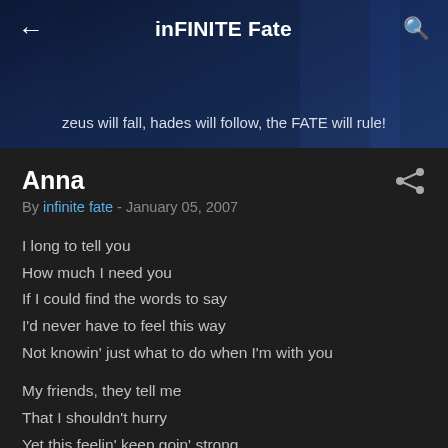inFINITE Fate
zeus will fall, hades will follow, the FATE will rule!
Anna
By infinite fate - January 05, 2007
I long to tell you
How much I need you
If I could find the words to say
I'd never have to feel this way
Not knowin' just what to do when I'm with you

My friends, they tell me
That I shouldn't hurry
Yet this feelin' keep goin' strong
'Cause you keep it goin' on